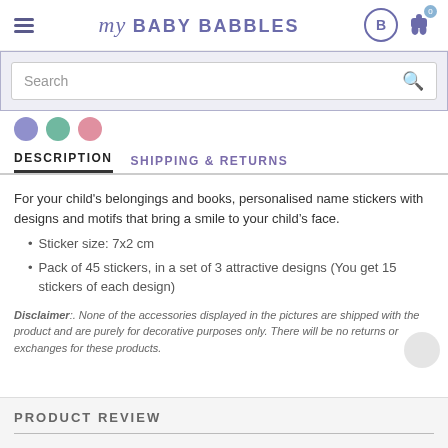my BABY BABBLES
Search
[Figure (illustration): Three color dots: purple, teal/green, pink]
DESCRIPTION  SHIPPING & RETURNS
For your child's belongings and books, personalised name stickers with designs and motifs that bring a smile to your child’s face.
Sticker size: 7x2 cm
Pack of 45 stickers, in a set of 3 attractive designs (You get 15 stickers of each design)
Disclaimer:. None of the accessories displayed in the pictures are shipped with the product and are purely for decorative purposes only. There will be no returns or exchanges for these products.
PRODUCT REVIEW